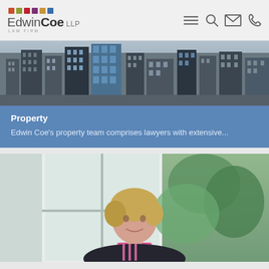[Figure (logo): Edwin Coe LLP Law Firm logo with coloured square dots above the text]
[Figure (illustration): Navigation icons: hamburger menu, search/magnifier, envelope/email, phone]
[Figure (photo): Black and white cityscape photo showing tall office buildings]
Property
Edwin Coe's property team comprises lawyers with extensive...
[Figure (photo): Professional headshot of a blonde woman in a pink shirt and dark blazer, photographed in front of a window with greenery outside]